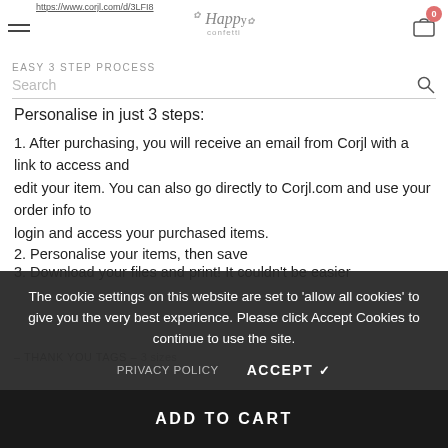https://www.corjl.com/d/3LFI8
[Figure (logo): The Happy Confetti logo - script font with leaf decoration]
EASY 3 STEP PROCESS
Search
Personalise in just 3 steps:
1. After purchasing, you will receive an email from Corjl with a link to access and edit your item. You can also go directly to Corjl.com and use your order info to login and access your purchased items.
2. Personalise your items, then save
3. Download your files and print! It couldn't be easier
The cookie settings on this website are set to 'allow all cookies' to give you the very best experience. Please click Accept Cookies to continue to use the site.
PRIVACY POLICY    ACCEPT ✓
Click here to shop our matching Boho Rainbow items
ADD TO CART